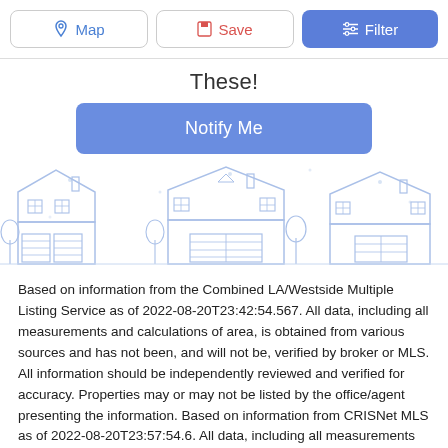[Figure (screenshot): Top navigation bar with Map, Save, and Filter buttons]
These!
[Figure (illustration): Blue outline illustration of suburban houses/neighborhood]
Based on information from the Combined LA/Westside Multiple Listing Service as of 2022-08-20T23:42:54.567. All data, including all measurements and calculations of area, is obtained from various sources and has not been, and will not be, verified by broker or MLS. All information should be independently reviewed and verified for accuracy. Properties may or may not be listed by the office/agent presenting the information. Based on information from CRISNet MLS as of 2022-08-20T23:57:54.6. All data, including all measurements and calculations of area, is obtained from various sources and has not been, and will not be, verified by broker or MLS. All information should be independently reviewed and verified for accuracy. Properties may or may not be listed by the office/agent